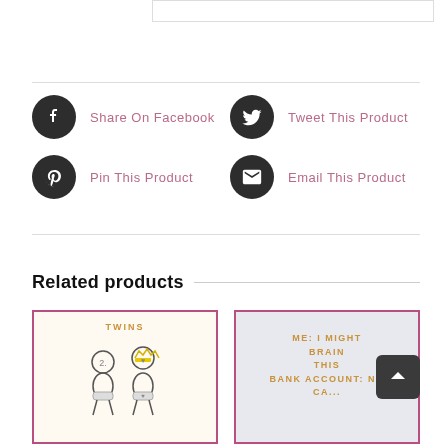[Figure (screenshot): Top portion of a product page showing a bordered input/content box]
Share On Facebook
Tweet This Product
Pin This Product
Email This Product
Related products
[Figure (illustration): Product card showing twins illustration with two baby figures and the word TWINS in gold]
[Figure (illustration): Product card with text: ME: I MIGHT BRAIN THIS... BANK ACCOUNT: NO... in gold letters on lavender background]